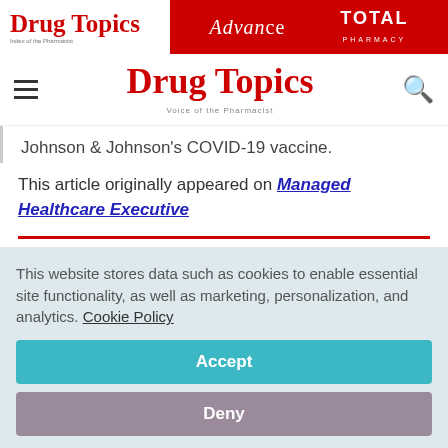Drug Topics | Advance | TOTAL PHARMACY
Drug Topics — Voice of the Pharmacist
Johnson & Johnson's COVID-19 vaccine.
This article originally appeared on Managed Healthcare Executive
This website stores data such as cookies to enable essential site functionality, as well as marketing, personalization, and analytics. Cookie Policy
Accept
Deny